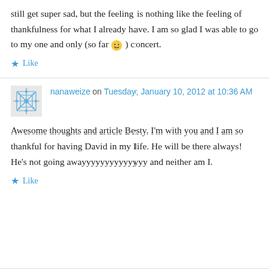still get super sad, but the feeling is nothing like the feeling of thankfulness for what I already have. I am so glad I was able to go to my one and only (so far 🙂 ) concert.
★ Like
nanaweize on Tuesday, January 10, 2012 at 10:36 AM
Awesome thoughts and article Besty. I'm with you and I am so thankful for having David in my life. He will be there always! He's not going awayyyyyyyyyyyyyy and neither am I.
★ Like